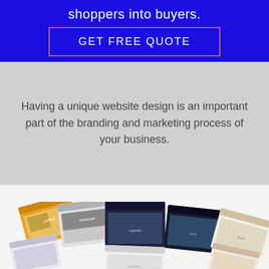shoppers into buyers.
GET FREE QUOTE
Having a unique website design is an important part of the branding and marketing process of your business.
[Figure (screenshot): Collection of website screenshot thumbnails displayed in a fan/spread layout at the bottom of the page]